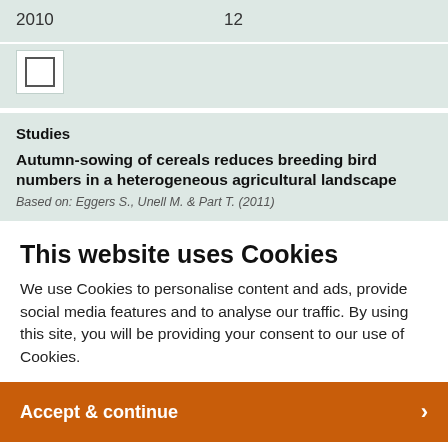| Year | Count |
| --- | --- |
| 2010 | 12 |
[Figure (other): Checkbox UI element, unchecked, white background within a teal/green panel]
Studies
Autumn-sowing of cereals reduces breeding bird numbers in a heterogeneous agricultural landscape
Based on: Eggers S., Unell M. & Part T. (2011)
This website uses Cookies
We use Cookies to personalise content and ads, provide social media features and to analyse our traffic. By using this site, you will be providing your consent to our use of Cookies.
Accept & continue